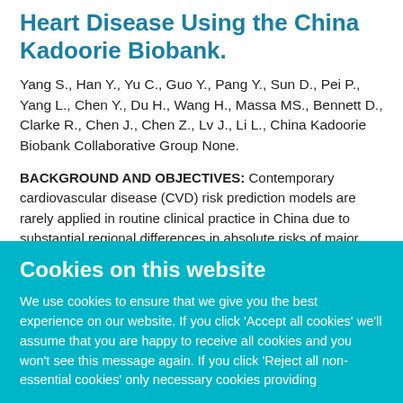Heart Disease Using the China Kadoorie Biobank.
Yang S., Han Y., Yu C., Guo Y., Pang Y., Sun D., Pei P., Yang L., Chen Y., Du H., Wang H., Massa MS., Bennett D., Clarke R., Chen J., Chen Z., Lv J., Li L., China Kadoorie Biobank Collaborative Group None.
BACKGROUND AND OBJECTIVES: Contemporary cardiovascular disease (CVD) risk prediction models are rarely applied in routine clinical practice in China due to substantial regional differences in absolute risks of major CVD types
Cookies on this website
We use cookies to ensure that we give you the best experience on our website. If you click 'Accept all cookies' we'll assume that you are happy to receive all cookies and you won't see this message again. If you click 'Reject all non-essential cookies' only necessary cookies providing